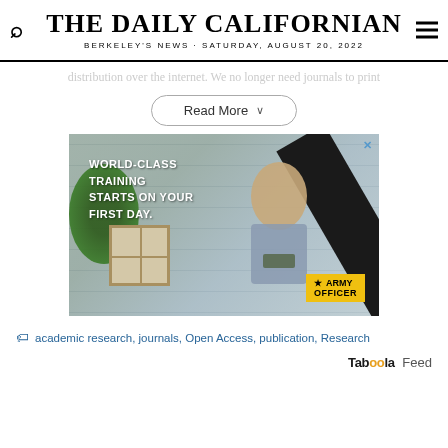THE DAILY CALIFORNIAN
BERKELEY'S NEWS · SATURDAY, AUGUST 20, 2022
distribution over the internet. We no longer need journals to print
Read More
[Figure (photo): Army Officer recruitment advertisement showing a young man in military-style clothing standing in front of a house with white siding. Text reads: WORLD-CLASS TRAINING STARTS ON YOUR FIRST DAY. Army Officer badge shown bottom right.]
academic research, journals, Open Access, publication, Research
Taboola Feed